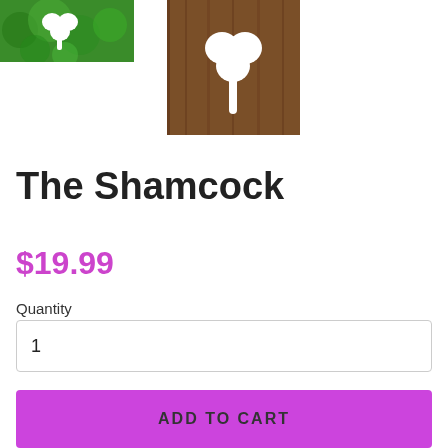[Figure (photo): Two product photos: left shows a shamrock shape on green background, right shows a white shamrock cutout on wooden background]
The Shamcock
$19.99
Quantity
1
ADD TO CART
Derived from a vision during Jazzercise with Grandma